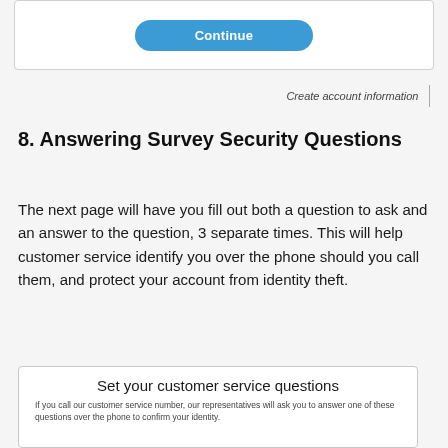[Figure (screenshot): White box with a blue 'Continue' button centered inside]
Create account information
8. Answering Survey Security Questions
The next page will have you fill out both a question to ask and an answer to the question, 3 separate times. This will help customer service identify you over the phone should you call them, and protect your account from identity theft.
[Figure (screenshot): Screenshot of 'Set your customer service questions' UI with subtitle text: If you call our customer service number, our representatives will ask you to answer one of these questions over the phone to confirm your identity.]